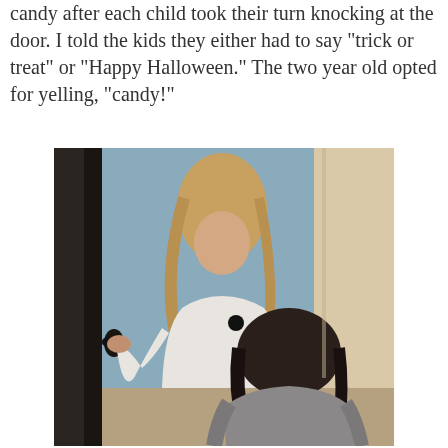candy after each child took their turn knocking at the door. I told the kids they either had to say "trick or treat" or "Happy Halloween." The two year old opted for yelling, "candy!"
[Figure (photo): Two children at a door. An older child with long blonde hair wearing a white sweatshirt reaches toward the door handle, while a younger child with darker hair wearing a grey shirt stands in front, viewed from behind. The background shows a blue wall and natural light from the right.]